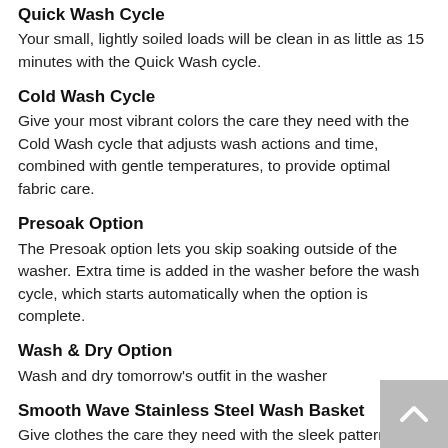Quick Wash Cycle
Your small, lightly soiled loads will be clean in as little as 15 minutes with the Quick Wash cycle.
Cold Wash Cycle
Give your most vibrant colors the care they need with the Cold Wash cycle that adjusts wash actions and time, combined with gentle temperatures, to provide optimal fabric care.
Presoak Option
The Presoak option lets you skip soaking outside of the washer. Extra time is added in the washer before the wash cycle, which starts automatically when the option is complete.
Wash & Dry Option
Wash and dry tomorrow's outfit in the washer
Smooth Wave Stainless Steel Wash Basket
Give clothes the care they need with the sleek pattern of the stainless steel wash basket that gently guides them.
Clean Washer with Affresh® Cycle
Run the Clean Washer with affresh® cycle every 30